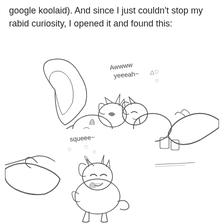google koolaid). And since I just couldn't stop my rabid curiosity, I opened it and found this:
[Figure (illustration): Pencil sketch illustration showing two cartoon ponies (in My Little Pony style), one with bat wings and a horn, nuzzling or interacting affectionately. A large human hand is visible reaching toward them from the right. Above them handwritten text reads 'Awww yeeeah~' with small heart symbols.]
[Figure (illustration): Pencil sketch illustration showing a cartoon pony being squeezed by a large human hand from the left. The pony appears happy/laughing. Handwritten text above reads 'squeee~' with small heart symbols.]